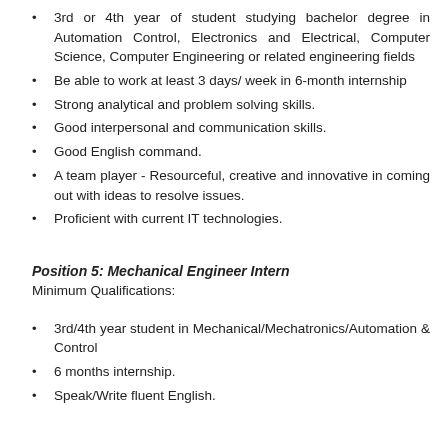3rd or 4th year of student studying bachelor degree in Automation Control, Electronics and Electrical, Computer Science, Computer Engineering or related engineering fields
Be able to work at least 3 days/ week in 6-month internship
Strong analytical and problem solving skills.
Good interpersonal and communication skills.
Good English command.
A team player - Resourceful, creative and innovative in coming out with ideas to resolve issues.
Proficient with current IT technologies.
Position 5: Mechanical Engineer Intern
Minimum Qualifications:
3rd/4th year student in Mechanical/Mechatronics/Automation & Control
6 months internship.
Speak/Write fluent English.